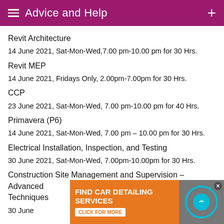Advice and Help
Revit Architecture
14 June 2021, Sat-Mon-Wed,7.00 pm-10.00 pm for 30 Hrs.
Revit MEP
14 June 2021, Fridays Only, 2.00pm-7.00pm for 30 Hrs.
CCP
23 June 2021, Sat-Mon-Wed, 7.00 pm-10.00 pm for 40 Hrs.
Primavera (P6)
14 June 2021, Sat-Mon-Wed, 7.00 pm – 10.00 pm for 30 Hrs.
Electrical Installation, Inspection, and Testing
30 June 2021, Sat-Mon-Wed, 7.00pm-10.00pm for 30 Hrs.
Construction Site Management and Supervision – Advanced Techniques
30 June
[Figure (other): Advertisement banner: FIND CAR DETAILING SERVICES - CLICK FOR MORE]